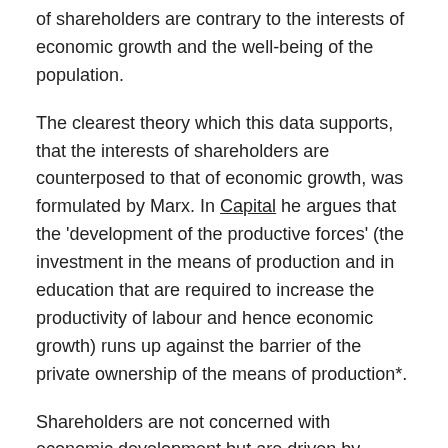of shareholders are contrary to the interests of economic growth and the well-being of the population.
The clearest theory which this data supports, that the interests of shareholders are counterposed to that of economic growth, was formulated by Marx. In Capital he argues that the 'development of the productive forces' (the investment in the means of production and in education that are required to increase the productivity of labour and hence economic growth) runs up against the barrier of the private ownership of the means of production*.
Shareholders are not concerned with economic development but are driven by profits. Where those two conflict, the latter always win out. This is true in general, but becomes very evident in a period of crisis. Private capitalists could end the current economic slump by increasing their level of investment and they have the means to do so. They choose